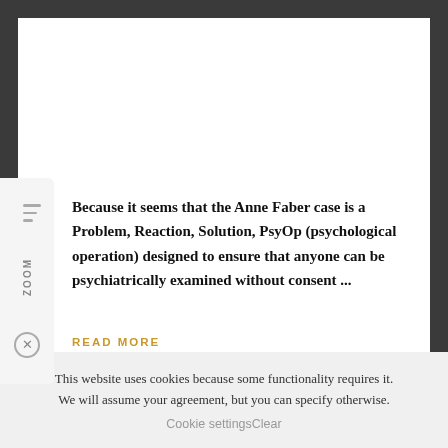Because it seems that the Anne Faber case is a Problem, Reaction, Solution, PsyOp (psychological operation) designed to ensure that anyone can be psychiatrically examined without consent ...
READ MORE
This website uses cookies because some functionality requires it. We will assume your agreement, but you can specify otherwise. Cookie settingsClear